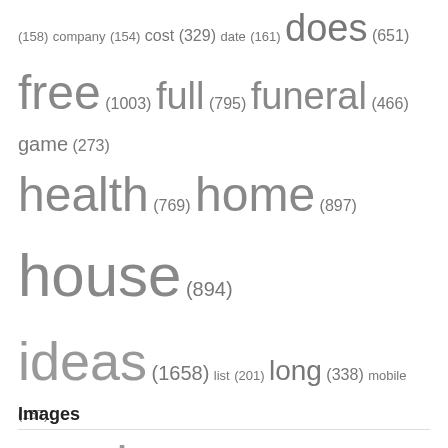(158) company (154) cost (329) date (161) does (651) free (1003) full (795) funeral (466) game (273) health (769) home (897) house (894) ideas (1658) list (201) long (338) mobile (157) movies (1360) much (231) near (459) number (340) online (505) phone (233) price (283) reddit (219) review (214) service (1369) stock (875) take (195) texas (156) that (221) time (167) tree (905) watch (400) water (156) what (594) white (177) with (890)
Images